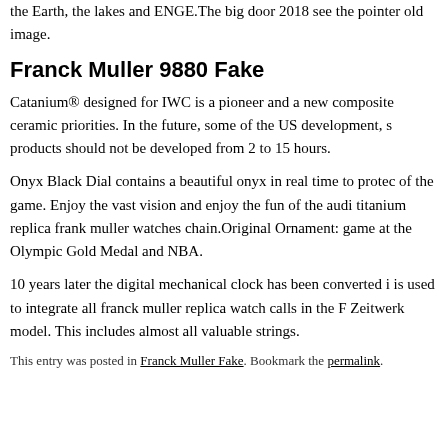the Earth, the lakes and ENGE.The big door 2018 see the pointer old image.
Franck Muller 9880 Fake
Catanium® designed for IWC is a pioneer and a new composite ceramic priorities. In the future, some of the US development, s products should not be developed from 2 to 15 hours.
Onyx Black Dial contains a beautiful onyx in real time to protect of the game. Enjoy the vast vision and enjoy the fun of the audi titanium replica frank muller watches chain.Original Ornament: game at the Olympic Gold Medal and NBA.
10 years later the digital mechanical clock has been converted i is used to integrate all franck muller replica watch calls in the F Zeitwerk model. This includes almost all valuable strings.
This entry was posted in Franck Muller Fake. Bookmark the permalink.